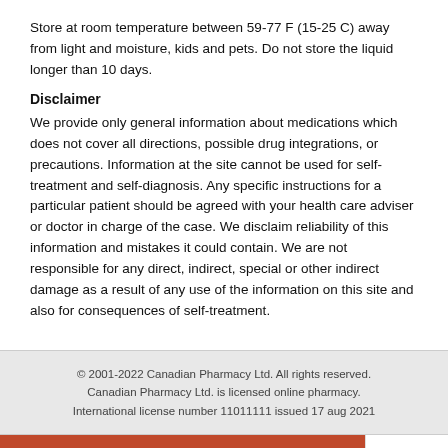Store at room temperature between 59-77 F (15-25 C) away from light and moisture, kids and pets. Do not store the liquid longer than 10 days.
Disclaimer
We provide only general information about medications which does not cover all directions, possible drug integrations, or precautions. Information at the site cannot be used for self-treatment and self-diagnosis. Any specific instructions for a particular patient should be agreed with your health care adviser or doctor in charge of the case. We disclaim reliability of this information and mistakes it could contain. We are not responsible for any direct, indirect, special or other indirect damage as a result of any use of the information on this site and also for consequences of self-treatment.
© 2001-2022 Canadian Pharmacy Ltd. All rights reserved. Canadian Pharmacy Ltd. is licensed online pharmacy. International license number 11011111 issued 17 aug 2021
ABOUT US
BESTSELLERS
TESTIMONIALS